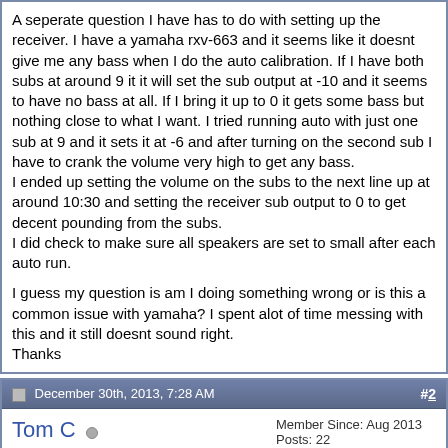A seperate question I have has to do with setting up the receiver. I have a yamaha rxv-663 and it seems like it doesnt give me any bass when I do the auto calibration. If I have both subs at around 9 it it will set the sub output at -10 and it seems to have no bass at all. If I bring it up to 0 it gets some bass but nothing close to what I want. I tried running auto with just one sub at 9 and it sets it at -6 and after turning on the second sub I have to crank the volume very high to get any bass.
I ended up setting the volume on the subs to the next line up at around 10:30 and setting the receiver sub output to 0 to get decent pounding from the subs.
I did check to make sure all speakers are set to small after each auto run.

I guess my question is am I doing something wrong or is this a common issue with yamaha? I spent alot of time messing with this and it still doesnt sound right.
Thanks
December 30th, 2013, 7:28 AM   #2
Tom C
Registered User
Member Since: Aug 2013
Posts: 22
There are others that can speak to this better than I, but my guess would be that the 9 o'clock position is too high. You want the sub level at about +/- 3 in the receiver. What I would do is to run your auto setup with one sub. Adjust the gain (volume) switch on the back of your sub till you get close to 0. Since you